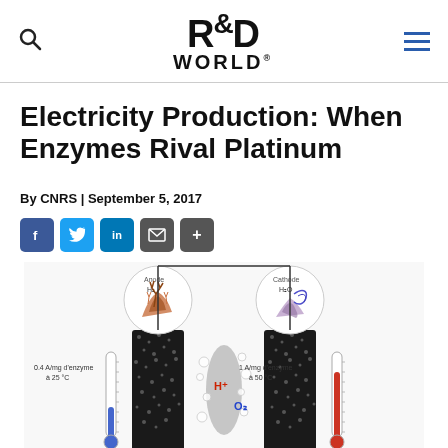R&D WORLD
Electricity Production: When Enzymes Rival Platinum
By CNRS | September 5, 2017
[Figure (infographic): Social media sharing buttons: Facebook, Twitter, LinkedIn, Email, Share]
[Figure (illustration): Scientific diagram of a biofuel cell showing two electrodes with enzymes (hydrogenase on left, laccase on right), thermometers showing temperatures of 25°C and 50°C, with H+ and O2 ions, and current densities of 0.4 A/mg d'enzyme and 1 A/mg d'enzyme]